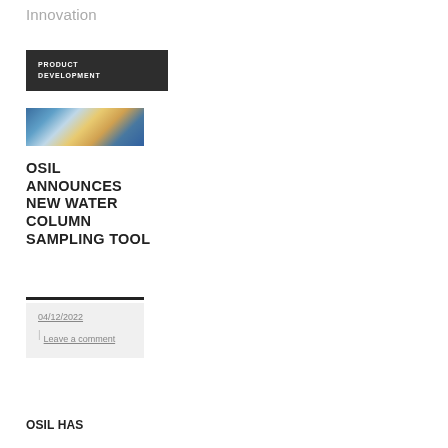Innovation
PRODUCT DEVELOPMENT
[Figure (photo): Photograph of water column sampling equipment being deployed from a vessel at sea]
OSIL ANNOUNCES NEW WATER COLUMN SAMPLING TOOL
04/12/2022 | Leave a comment
OSIL has